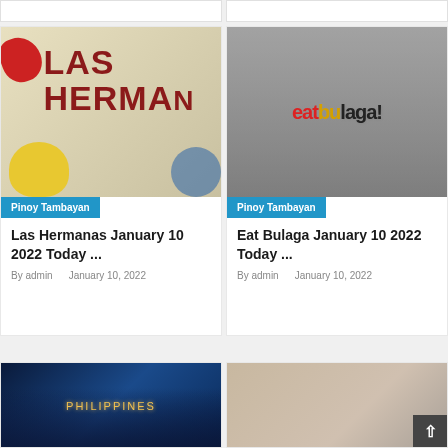[Figure (photo): Top strip showing two partial card elements cut off at top]
[Figure (photo): Las Hermanas TV show thumbnail with red text LAS HERMANAS on beige background with colorful paper flowers]
Pinoy Tambayan
Las Hermanas January 10 2022 Today ...
By admin   January 10, 2022
[Figure (photo): Eat Bulaga TV show thumbnail with crowd in background and Eat Bulaga logo]
Pinoy Tambayan
Eat Bulaga January 10 2022 Today ...
By admin   January 10, 2022
[Figure (photo): Philippines TV show cast members on blue/dark background with PHILIPPINES text]
[Figure (photo): Person wearing beige and dark coats]